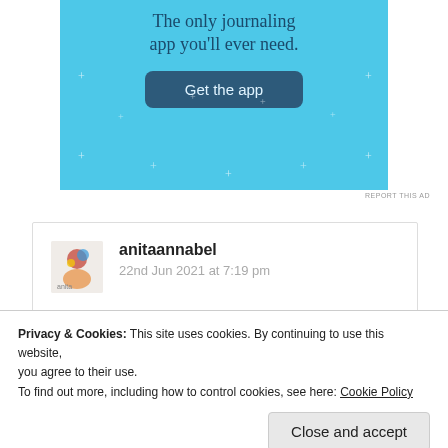[Figure (screenshot): App advertisement banner with light blue background. Text reads 'The only journaling app you'll ever need.' with a dark blue 'Get the app' button. Decorative star/sparkle elements scattered in background.]
REPORT THIS AD
anitaannabel
22nd Jun 2021 at 7:19 pm
Your answer to the questions describes your personality..😊
Privacy & Cookies: This site uses cookies. By continuing to use this website, you agree to their use.
To find out more, including how to control cookies, see here: Cookie Policy
Close and accept
Log in to Reply